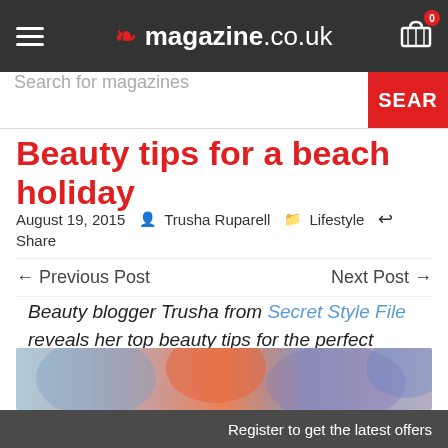magazine.co.uk
Search for magazines
Beauty tips for a beach holiday
August 19, 2015   Trusha Ruparell   Lifestyle   Share
← Previous Post   Next Post →
Beauty blogger Trusha from Secret Style File reveals her top beauty tips for the perfect summer holiday.
[Figure (photo): Partial image of beach/beauty related photo visible at bottom of page]
Register to get the latest offers